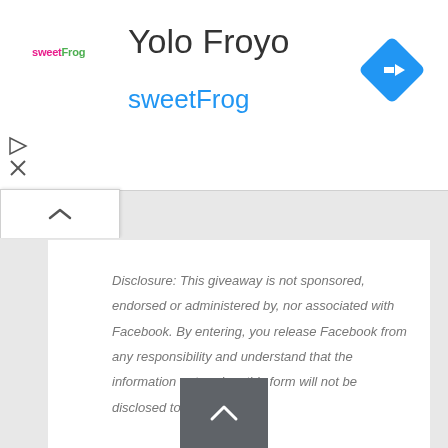Yolo Froyo
sweetFrog
[Figure (logo): sweetFrog brand logo text in pink and green]
[Figure (other): Blue diamond navigation/directions icon with right-turn arrow]
Disclosure: This giveaway is not sponsored, endorsed or administered by, nor associated with Facebook. By entering, you release Facebook from any responsibility and understand that the information entered on this form will not be disclosed to Facebook.
FTC compliance: While I did receive a product at no charge for review purposes, I was not compensated for this post and all opinions are my own.